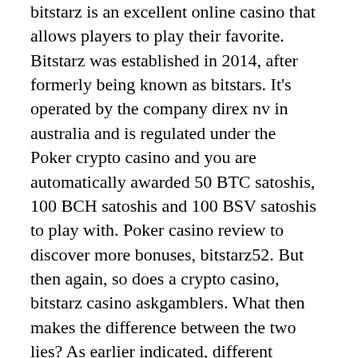bitstarz is an excellent online casino that allows players to play their favorite. Bitstarz was established in 2014, after formerly being known as bitstars. It's operated by the company direx nv in australia and is regulated under the
 Poker crypto casino and you are automatically awarded 50 BTC satoshis, 100 BCH satoshis and 100 BSV satoshis to play with. Poker casino review to discover more bonuses, bitstarz52. But then again, so does a crypto casino, bitstarz casino askgamblers. What then makes the difference between the two lies? As earlier indicated, different casinos are governed by different rules. And this is the same when it comes to no deposit bonuses, bitstarz casino скачать. Let's not forget that if you have any questions we have our extraordinary support team who will gladly assist you, bitstarz casino скачать. Start to play casino with Neo at the best place on the internet. There are three types